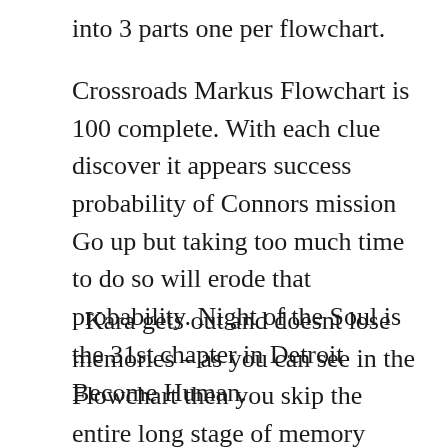into 3 parts one per flowchart.
Crossroads Markus Flowchart is 100 complete. With each clue discover it appears success probability of Connors mission Go up but taking too much time to do so will erode that probability. Night of the Soul is the 31st chapter in Detroit Become Human.
Kara gets out and doesnt lose memories – as you can see in the Flowchart then you skip the entire long stage of memory recovery. Night of the Soul Flowchart 100 Complete Markus Branch Heres a quick overview of the Markus